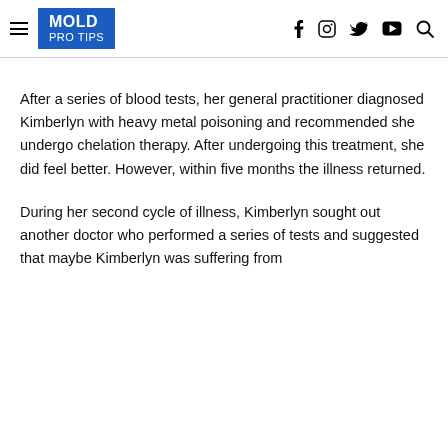MOLD PRO TIPS
After a series of blood tests, her general practitioner diagnosed Kimberlyn with heavy metal poisoning and recommended she undergo chelation therapy. After undergoing this treatment, she did feel better. However, within five months the illness returned.
During her second cycle of illness, Kimberlyn sought out another doctor who performed a series of tests and suggested that maybe Kimberlyn was suffering from